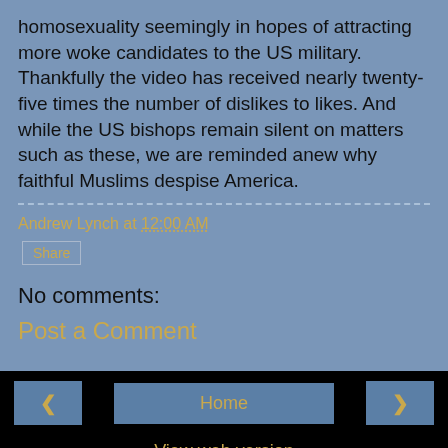homosexuality seemingly in hopes of attracting more woke candidates to the US military. Thankfully the video has received nearly twenty-five times the number of dislikes to likes. And while the US bishops remain silent on matters such as these, we are reminded anew why faithful Muslims despise America.
Andrew Lynch at 12:00 AM
Share
No comments:
Post a Comment
‹   Home   ›   View web version   Powered by Blogger.